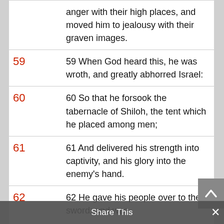| Verse | Text |
| --- | --- |
|  | anger with their high places, and moved him to jealousy with their graven images. |
| 59 | 59 When God heard this, he was wroth, and greatly abhorred Israel: |
| 60 | 60 So that he forsook the tabernacle of Shiloh, the tent which he placed among men; |
| 61 | 61 And delivered his strength into captivity, and his glory into the enemy's hand. |
| 62 | 62 He gave his people over to the sword; and was |
Share This